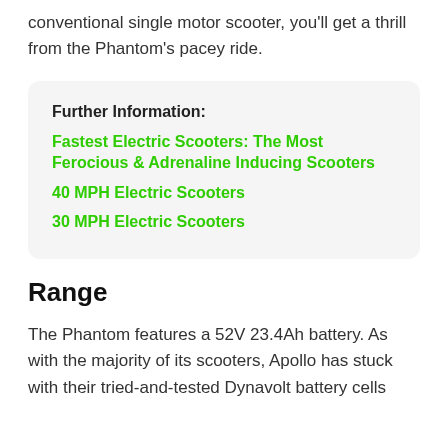conventional single motor scooter, you'll get a thrill from the Phantom's pacey ride.
Further Information:
Fastest Electric Scooters: The Most Ferocious & Adrenaline Inducing Scooters
40 MPH Electric Scooters
30 MPH Electric Scooters
Range
The Phantom features a 52V 23.4Ah battery. As with the majority of its scooters, Apollo has stuck with their tried-and-tested Dynavolt battery cells